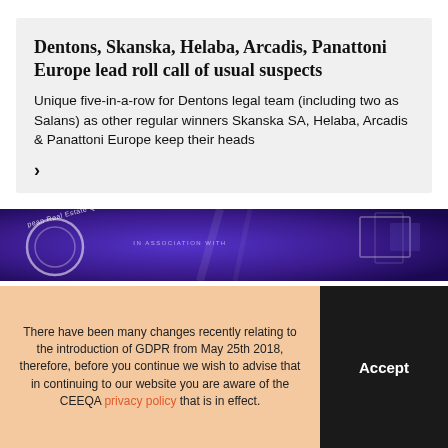Dentons, Skanska, Helaba, Arcadis, Panattoni Europe lead roll call of usual suspects
Unique five-in-a-row for Dentons legal team (including two as Salans) as other regular winners Skanska SA, Helaba, Arcadis & Panattoni Europe keep their heads
[Figure (photo): Dark purple/blue lit event hall with circular logo showing 'pean Real Estate Qu...' on left, association text in center, and illuminated rectangular display frames on the right]
There have been many changes recently relating to the introduction of GDPR from May 25th 2018, therefore, before you continue we wish to advise that in continuing to our website you are aware of the CEEQA privacy policy that is in effect.
Accept